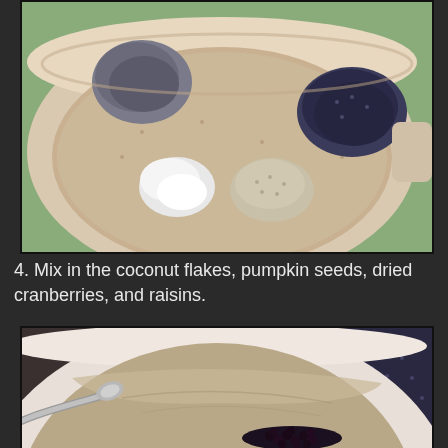[Figure (photo): Overhead view of a mixing bowl containing oat-based mixture with small piles of white coconut flakes, white/gray chia seeds, dark blue-black poppy or chia seeds, and gray pumpkin seeds arranged on top of the mixture.]
4. Mix in the coconut flakes, pumpkin seeds, dried cranberries, and raisins.
[Figure (photo): Close-up side view of a white mixing bowl with a spoon visible on the left, containing a smooth beige/brown oat mixture with small dark dried berries (raisins or dried cranberries) clustered at the bottom right of the bowl interior.]